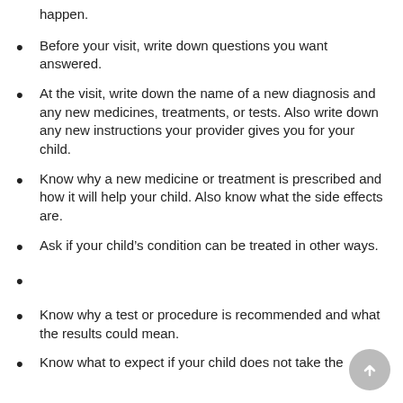happen.
Before your visit, write down questions you want answered.
At the visit, write down the name of a new diagnosis and any new medicines, treatments, or tests. Also write down any new instructions your provider gives you for your child.
Know why a new medicine or treatment is prescribed and how it will help your child. Also know what the side effects are.
Ask if your child’s condition can be treated in other ways.
Know why a test or procedure is recommended and what the results could mean.
Know what to expect if your child does not take the